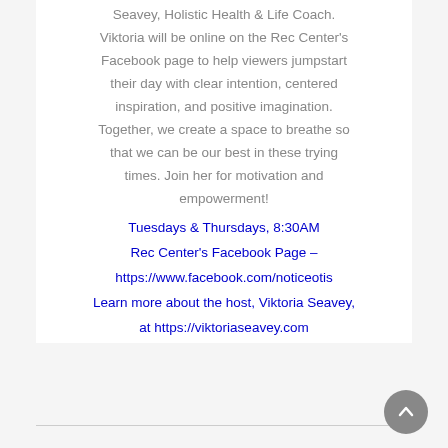Seavey, Holistic Health & Life Coach. Viktoria will be online on the Rec Center's Facebook page to help viewers jumpstart their day with clear intention, centered inspiration, and positive imagination. Together, we create a space to breathe so that we can be our best in these trying times. Join her for motivation and empowerment!
Tuesdays & Thursdays, 8:30AM
Rec Center's Facebook Page – https://www.facebook.com/noticeotis
Learn more about the host, Viktoria Seavey, at https://viktoriaseavey.com